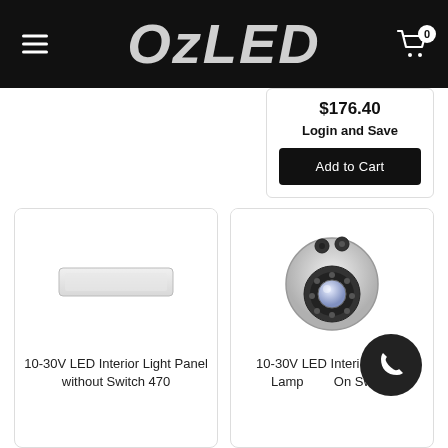OzLED
$176.40
Login and Save
Add to Cart
[Figure (photo): 10-30V LED Interior Light Panel without Switch 470 - flat rectangular LED panel product photo on white background]
10-30V LED Interior Light Panel without Switch 470
[Figure (photo): 10-30V LED Interior Panel Lamp with On Switch - dome/ball shaped LED lamp with black housing and glass lens, viewed from above]
10-30V LED Interior Panel Lamp with On Switch